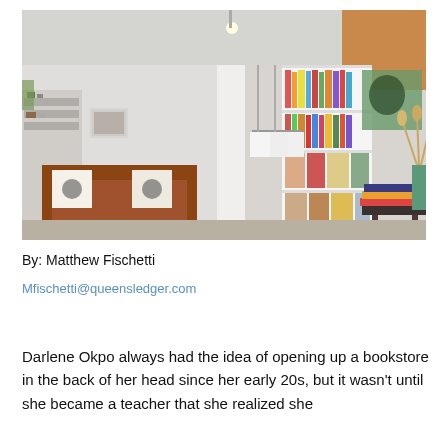[Figure (photo): Interior of a bookstore/gift shop showing shelves filled with books and merchandise, a leather couch with decorative pillows, hanging clothes, a vase with dried flowers, and books stacked on a table in the foreground.]
By: Matthew Fischetti
Mfischetti@queensledger.com
Darlene Okpo always had the idea of opening up a bookstore in the back of her head since her early 20s, but it wasn't until she became a teacher that she realized she